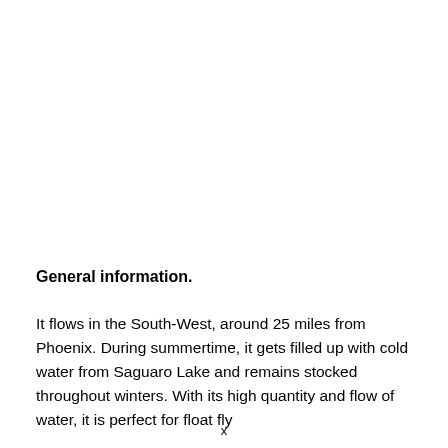General information.
It flows in the South-West, around 25 miles from Phoenix. During summertime, it gets filled up with cold water from Saguaro Lake and remains stocked throughout winters. With its high quantity and flow of water, it is perfect for float fly
x